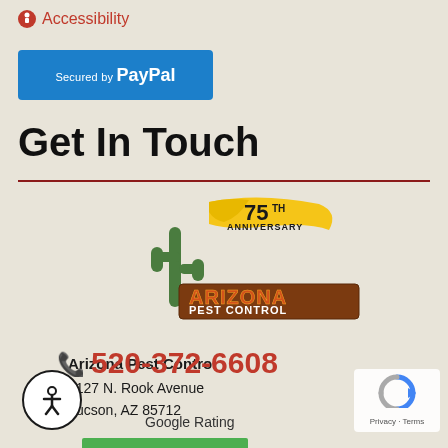Accessibility
[Figure (logo): PayPal secured payment badge — blue rectangle with 'Secured by PayPal' text in white]
Get In Touch
[Figure (logo): Arizona Pest Control 75th Anniversary logo — cactus graphic with yellow anniversary banner and orange/brown ARIZONA PEST CONTROL text]
Arizona Pest Control
1127 N. Rook Avenue
Tucson, AZ 85712
520-372-6608
[Figure (illustration): Accessibility widget icon — person in circle symbol]
[Figure (illustration): reCAPTCHA badge — blue spinning arrows logo with Privacy · Terms text]
Google Rating